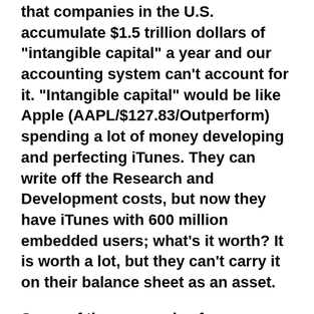that companies in the U.S. accumulate $1.5 trillion dollars of "intangible capital" a year and our accounting system can't account for it. "Intangible capital" would be like Apple (AAPL/$127.83/Outperform) spending a lot of money developing and perfecting iTunes. They can write off the Research and Development costs, but now they have iTunes with 600 million embedded users; what's it worth? It is worth a lot, but they can't carry it on their balance sheet as an asset.
Some of the companies from our research universe that are accumulating "intangible capital" at a pretty fast rate and are buy rated by our fundamental analysts include: LabCorp